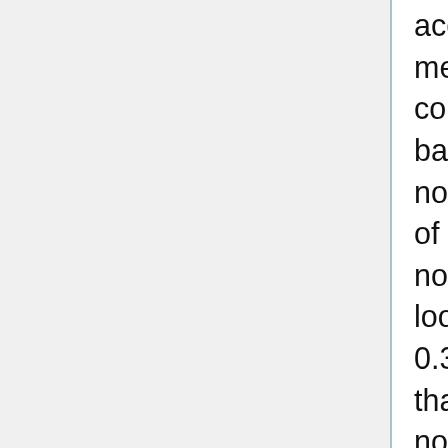accuracy is measured from the baseline model mentioned above which is why all the sets converge at a dropout of 0.5 since that was the baseline we want to compare to. We also need to note that "none" reports the change in accuracy of not using any regularization, so no dropout and no l2 norm constraint either. For the most part it looks like the models perform better for 0.1 and 0.3 than 0.5 suggesting to look into ranges less than 0.5 for dropout. For the second graph, the l2 norm constraint on weight vectors, we see that there doesn't seem to be any large change in performance, apart from certain outlier cases. On this graph "none" reports change in accuracy without either regularization techniques. Note this was performed on the non-static model. Therefore its a reasonable